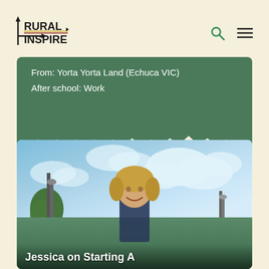Rural Inspire
From: Yorta Yorta Land (Echuca VIC)
After school: Work
[Figure (photo): A smiling young woman with blonde hair outdoors against a sky with clouds, light poles and trees in background. Text overlay reads 'Jessica on Starting A']
Jessica on Starting A